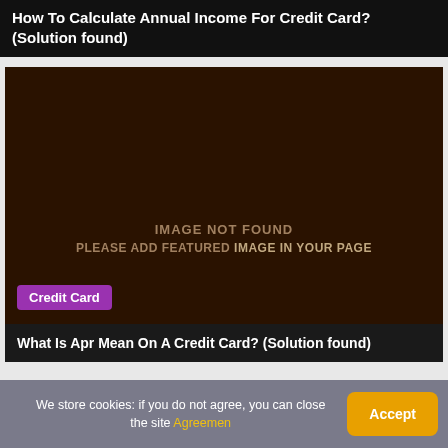How To Calculate Annual Income For Credit Card? (Solution found)
[Figure (other): Dark brown placeholder image with text 'IMAGE NOT FOUND / PLEASE ADD FEATURED IMAGE IN YOUR PAGE']
Credit Card
What Is Apr Mean On A Credit Card? (Solution found)
We store cookies: if you do not agree, you can close the site Agreemen